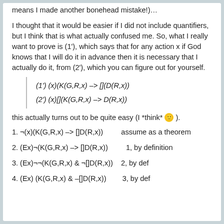means I made another bonehead mistake!)…
I thought that it would be easier if I did not include quantifiers, but I think that is what actually confused me. So, what I really want to prove is (1'), which says that for any action x if God knows that I will do it in advance then it is necessary that I actually do it, from (2'), which you can figure out for yourself.
this actually turns out to be quite easy (I *think* 🙂 ).
1. ¬(x)(K(G,R,x) –> []D(R,x))        assume as a theorem
2. (Ex)¬(K(G,R,x) –> []D(R,x))        1, by definition
3. (Ex)¬¬(K(G,R,x) & ¬[]D(R,x))   2, by def
4. (Ex) (K(G,R,x) & –[]D(R,x))      3, by def